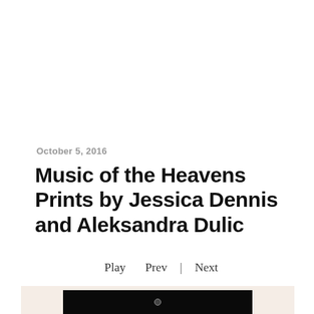October 5, 2016
Music of the Heavens Prints by Jessica Dennis and Aleksandra Dulic
Play   Prev  |  Next
[Figure (photo): A dark/black image panel with a small circular element near the top center, set against a light pinkish-beige background border.]